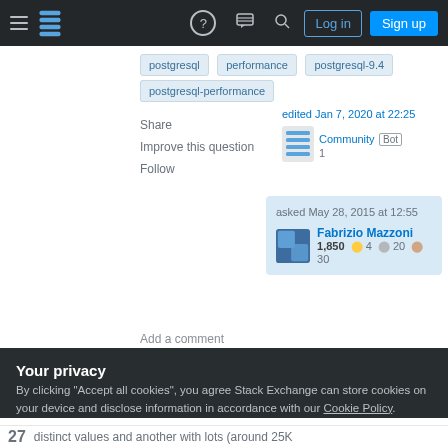Stack Exchange navigation bar with hamburger menu, logo, help, chat, search icons, Log in and Sign up buttons
postgresql
performance
postgresql-9.4
distinct
postgresql-performance
Share
Improve this question
Follow
edited Jan 7, 2020 at 22:25
Community Bot
1
asked May 28, 2015 at 12:55
Fabrizio Mazzoni
1,850 ● 4 ● 20 ● 30
Add a comment
Your privacy
By clicking "Accept all cookies", you agree Stack Exchange can store cookies on your device and disclose information in accordance with our Cookie Policy.
Accept all cookies
Customize settings
27 distinct values and another with lots (around 25K